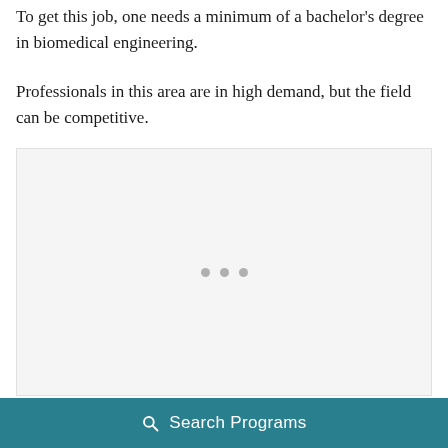To get this job, one needs a minimum of a bachelor's degree in biomedical engineering.
Professionals in this area are in high demand, but the field can be competitive.
[Figure (other): A light gray placeholder image box with three small gray dots centered near the bottom, representing a loading or placeholder image area.]
Search Programs